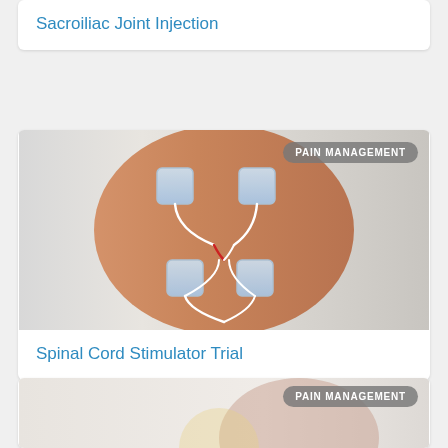Sacroiliac Joint Injection
[Figure (photo): Person's back with TENS/electrode pads attached, showing spinal cord stimulator trial setup with wires running from pads]
Spinal Cord Stimulator Trial
[Figure (photo): Partial image of a person, bottom portion of a card with PAIN MANAGEMENT badge, third card partially visible]